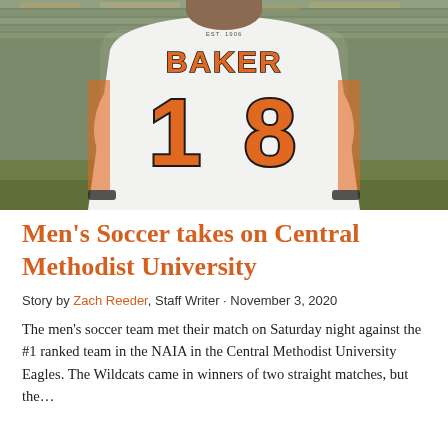[Figure (photo): A soccer player wearing a white jersey with 'BAKER' on the back and the number 18 in large orange letters with black outline, standing on a field with bleachers in the background. EST. 1906 is visible at the top of the jersey.]
Men's Soccer takes on Central Methodist University
Story by Zach Reeder, Staff Writer · November 3, 2020
The men's soccer team met their match on Saturday night against the #1 ranked team in the NAIA in the Central Methodist University Eagles. The Wildcats came in winners of two straight matches, but the...